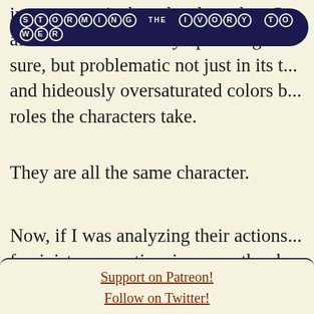STORMING the IVORY TOWER
interests me is the roles they play. C... aforementioned totally opre... a god... sure, but problematic not just in its t... and hideously oversaturated colors b... roles the characters take.
They are all the same character.
Now, if I was analyzing their actions... feminist perspective, in a way the sh... girls kicking ass! Cool! But the prob... do they all kick ass in exactly the sa...
Support on Patreon!
Follow on Twitter!